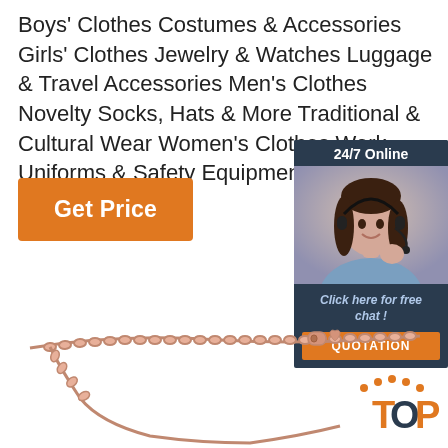Boys' Clothes Costumes & Accessories Girls' Clothes Jewelry & Watches Luggage & Travel Accessories Men's Clothes Novelty Socks, Hats & More Traditional & Cultural Wear Women's Clothes Work Uniforms & Safety Equipment
[Figure (other): Orange 'Get Price' button]
[Figure (other): 24/7 Online chat widget with customer service representative photo, 'Click here for free chat!' text, and orange QUOTATION button]
[Figure (other): Rose gold chain necklace clasp and links at bottom of page, with orange/navy TOP badge in bottom right corner]